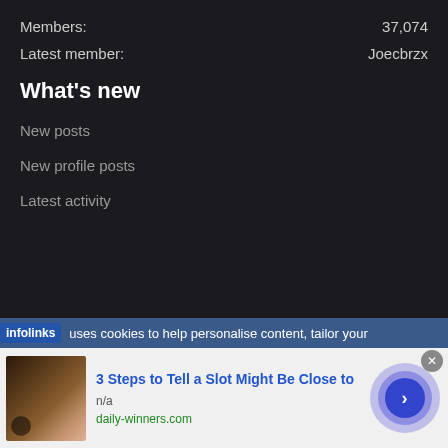Members: 37,074
Latest member: Joecbrzx
What's new
New posts
New profile posts
Latest activity
infolinks uses cookies to help personalise content, tailor your
[Figure (screenshot): Advertisement banner for 3 Steps to Tell a Slot Might Be Close to from daily-winners.com with a thumbnail image and navigation arrow button]